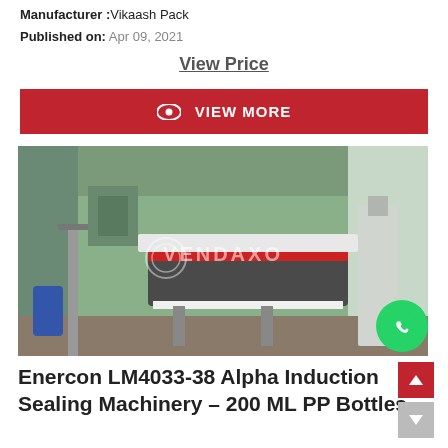Manufacturer : Vikaash Pack
Published on: Apr 09, 2021
View Price
VIEW MORE
[Figure (photo): Industrial packaging machine (Enercon induction sealer) on a stand inside a green-walled factory, with a VENDAXO watermark overlay.]
Enercon LM4033-38 Alpha Induction Sealing Machinery – 200 ML PP Bottles